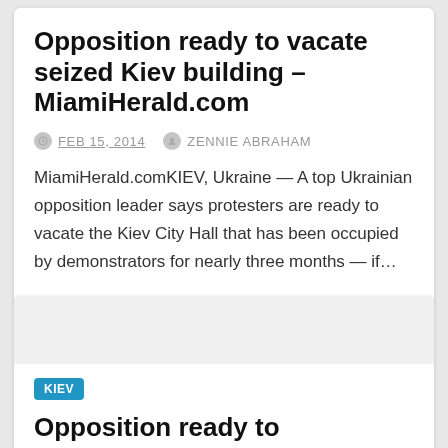Opposition ready to vacate seized Kiev building – MiamiHerald.com
FEB 15, 2014   ZENNIE ABRAHAM
MiamiHerald.comKIEV, Ukraine — A top Ukrainian opposition leader says protesters are ready to vacate the Kiev City Hall that has been occupied by demonstrators for nearly three months — if…
KIEV
Opposition ready to vacate seized Kiev building – Washington Post